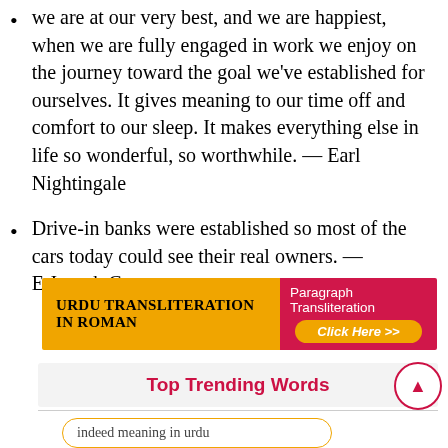We are at our very best, and we are happiest, when we are fully engaged in work we enjoy on the journey toward the goal we've established for ourselves. It gives meaning to our time off and comfort to our sleep. It makes everything else in life so wonderful, so worthwhile. — Earl Nightingale
Drive-in banks were established so most of the cars today could see their real owners. — E.Joseph Cossman
[Figure (infographic): Orange and red banner for Urdu Transliteration in Roman with a Paragraph Transliteration Click Here button]
Top Trending Words
indeed meaning in urdu